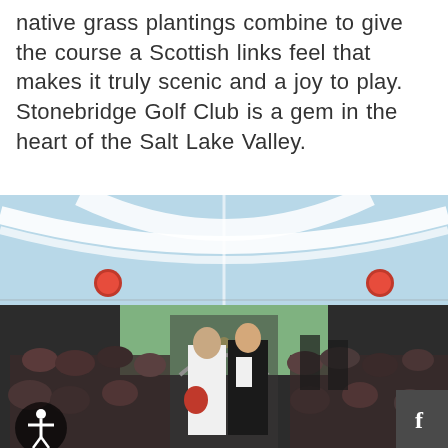native grass plantings combine to give the course a Scottish links feel that makes it truly scenic and a joy to play. Stonebridge Golf Club is a gem in the heart of the Salt Lake Valley.
[Figure (photo): Wedding ceremony photo inside a tent venue. A bride in a white dress holding a red bouquet and a groom in a black suit walk down the aisle together, smiling. Guests are seated on either side. The tent ceiling is draped with white fabric and decorated with red floral balls. A floral arch is visible in the background.]